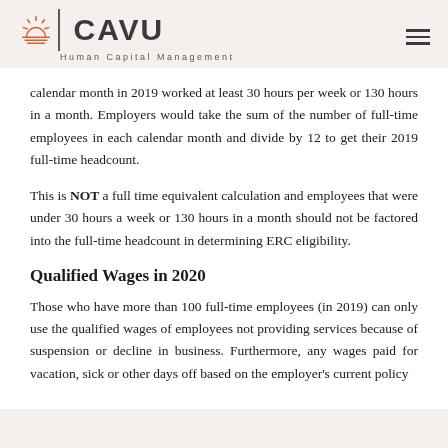CAVU Human Capital Management
calendar month in 2019 worked at least 30 hours per week or 130 hours in a month. Employers would take the sum of the number of full-time employees in each calendar month and divide by 12 to get their 2019 full-time headcount.
This is NOT a full time equivalent calculation and employees that were under 30 hours a week or 130 hours in a month should not be factored into the full-time headcount in determining ERC eligibility.
Qualified Wages in 2020
Those who have more than 100 full-time employees (in 2019) can only use the qualified wages of employees not providing services because of suspension or decline in business. Furthermore, any wages paid for vacation, sick or other days off based on the employer's current policy